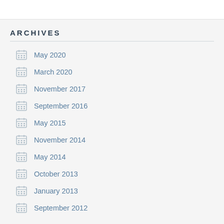ARCHIVES
May 2020
March 2020
November 2017
September 2016
May 2015
November 2014
May 2014
October 2013
January 2013
September 2012